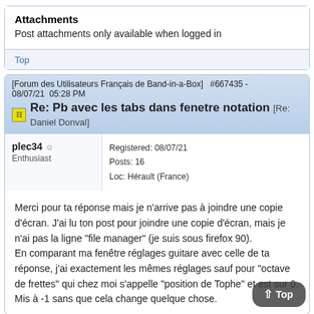Attachments
Post attachments only available when logged in
Top
[Forum des Utilisateurs Français de Band-in-a-Box]   #667435 - 08/07/21  05:28 PM
Re: Pb avec les tabs dans fenetre notation [Re: Daniel Donval]
plec34 ☺
Enthusiast
Registered: 08/07/21
Posts: 16
Loc: Hérault (France)
Merci pour ta réponse mais je n'arrive pas à joindre une copie d'écran. J'ai lu ton post pour joindre une copie d'écran, mais je n'ai pas la ligne "file manager" (je suis sous firefox 90).
En comparant ma fenêtre réglages guitare avec celle de ta réponse, j'ai exactement les mêmes réglages sauf pour "octave de frettes" qui chez moi s'appelle "position de TopHe" et est sur 0. Mis à -1 sans que cela change quelque chose.